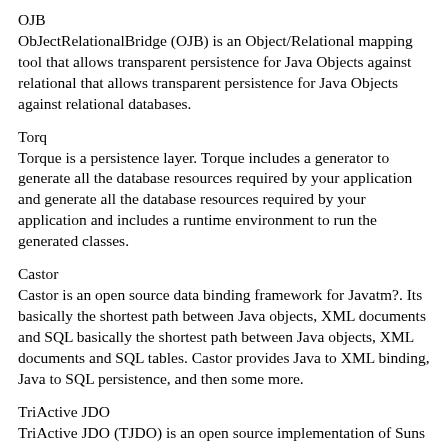OJB
ObJectRelationalBridge (OJB) is an Object/Relational mapping tool that allows transparent persistence for Java Objects against relational that allows transparent persistence for Java Objects against relational databases.
Torq
Torque is a persistence layer. Torque includes a generator to generate all the database resources required by your application and generate all the database resources required by your application and includes a runtime environment to run the generated classes.
Castor
Castor is an open source data binding framework for Javatm?. Its basically the shortest path between Java objects, XML documents and SQL basically the shortest path between Java objects, XML documents and SQL tables. Castor provides Java to XML binding, Java to SQL persistence, and then some more.
TriActive JDO
TriActive JDO (TJDO) is an open source implementation of Suns JDO specification (JSR 12), designed to support transparent persistence JDO specification (JSR 12), designed to support transparent persistence using any JDBC-compliant database. TJDO